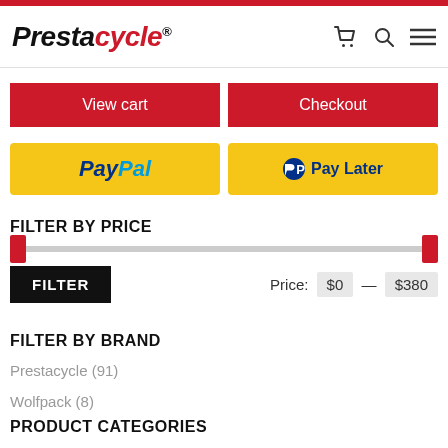Prestacycle® logo with cart, search, and menu icons
View cart
Checkout
[Figure (logo): PayPal payment button]
[Figure (logo): Pay Later payment button with PayPal P logo]
FILTER BY PRICE
[Figure (other): Price range slider with red handles at both ends]
FILTER   Price: $0 — $380
FILTER BY BRAND
Prestacycle (91)
Wolfpack (8)
PRODUCT CATEGORIES